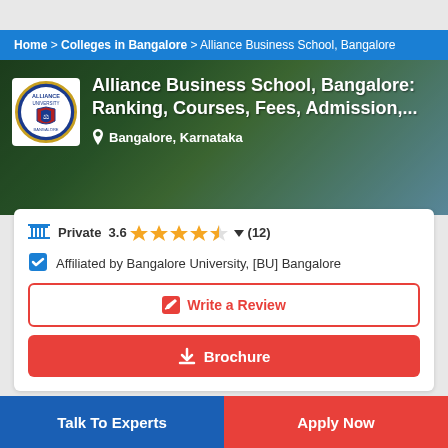Home > Colleges in Bangalore > Alliance Business School, Bangalore
[Figure (photo): Hero banner showing Alliance Business School campus with green lawn and trees, overlaid with school logo and title text]
Alliance Business School, Bangalore: Ranking, Courses, Fees, Admission,...
Bangalore, Karnataka
Private  3.6  ★★★★☆  ▼  (12)
Affiliated by Bangalore University, [BU] Bangalore
✏ Write a Review
⬇ Brochure
Talk To Experts
Apply Now